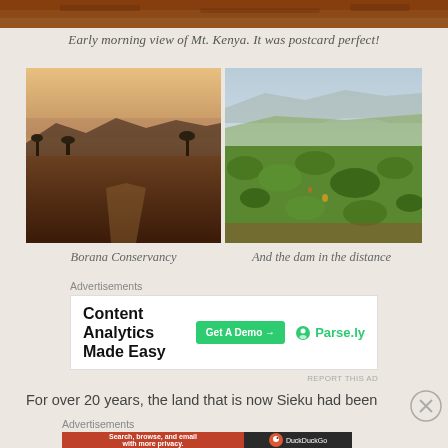[Figure (photo): Partial top strip of a landscape photo showing red-brown rocky terrain, cropped from top]
Early morning view of Mt. Kenya. It was postcard perfect!
[Figure (photo): Two landscape photos side by side: left shows Borana Conservancy at dusk with hazy mountains and arid flat land; right shows lush green shrubby hillside with a dam visible in the misty distance]
Borana Conservancy
And the dam in the distance
Advertisements
[Figure (screenshot): Advertisement banner: 'Content Analytics Made Easy' with a green 'Get A Demo' button and Parse.ly logo]
REPORT THIS AD
For over 20 years, the land that is now Sieku had been
Advertisements
[Figure (screenshot): DuckDuckGo advertisement banner: 'Search, browse, and email with more privacy. All in One Free App' on orange background with DuckDuckGo logo on dark background]